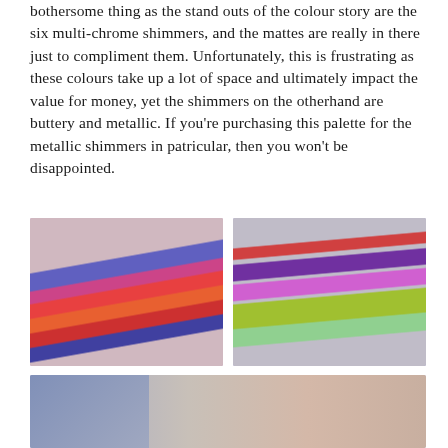bothersome thing as the stand outs of the colour story are the six multi-chrome shimmers, and the mattes are really in there just to compliment them. Unfortunately, this is frustrating as these colours take up a lot of space and ultimately impact the value for money, yet the shimmers on the otherhand are buttery and metallic. If you're purchasing this palette for the metallic shimmers in patricular, then you won't be disappointed.
[Figure (photo): Close-up photo of a hand with multiple eyeshadow colour swatches applied in diagonal stripes including purple, pink, red-orange, orange-red, red, and blue-purple shades, with a makeup palette visible in the background.]
[Figure (photo): Close-up photo of a hand with eyeshadow swatches including a red-pink, deep purple, light pink shimmer, yellow-green metallic shimmer, and mint shimmer shades, with a purple makeup palette visible in the background.]
[Figure (photo): Close-up photo of an arm or hand with subtle shimmer eyeshadow swatches barely visible, with a light purple/lavender background and what appears to be a black makeup item partially visible on the left.]